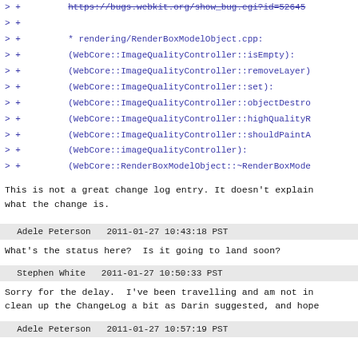> +         https://bugs.webkit.org/show_bug.cgi?id=52645
> +
> +         * rendering/RenderBoxModelObject.cpp:
> +         (WebCore::ImageQualityController::isEmpty):
> +         (WebCore::ImageQualityController::removeLayer)
> +         (WebCore::ImageQualityController::set):
> +         (WebCore::ImageQualityController::objectDestro
> +         (WebCore::ImageQualityController::highQualityR
> +         (WebCore::ImageQualityController::shouldPaintA
> +         (WebCore::imageQualityController):
> +         (WebCore::RenderBoxModelObject::~RenderBoxMode
This is not a great change log entry. It doesn't explain what the change is.
Adele Peterson   2011-01-27 10:43:18 PST
What's the status here?  Is it going to land soon?
Stephen White   2011-01-27 10:50:33 PST
Sorry for the delay.  I've been travelling and am not in clean up the ChangeLog a bit as Darin suggested, and hope
Adele Peterson   2011-01-27 10:57:19 PST